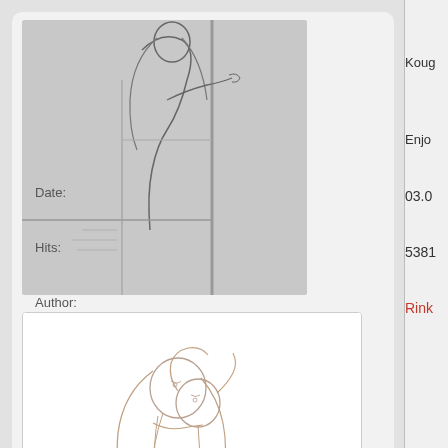[Figure (illustration): Sketch thumbnail showing a figure standing near a window or doorframe, manga/anime style line art, grayscale]
[Figure (illustration): Sketch thumbnail showing two characters in an embrace or close together, manga/anime style pencil sketch, light brown/sepia tones on white background]
Koug
Enjo
Date:
03.0
Hits:
5381
Author:
Rink
Comments ⇅
#15 bakugirl 📅 Tuesday, 22 Novembe
SESSHY! UN CROSS TO YOUR A
#14 Saraf Anjum 📅 Friday, 11 April 2
GOD I LOVE your artwork. Kyaaa
#13 Himura Asami 📅 Sunday, 21 Ap
Right after Sesshomaru, your OC i